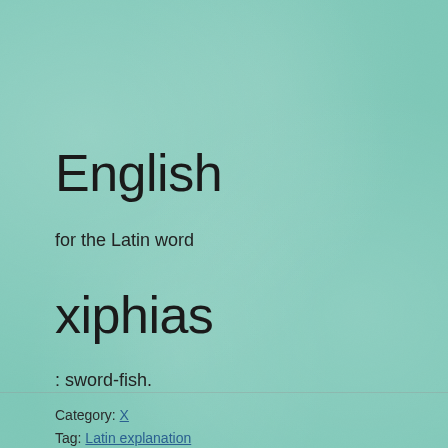English
for the Latin word
xiphias
: sword-fish.
Category: X
Tag: Latin explanation